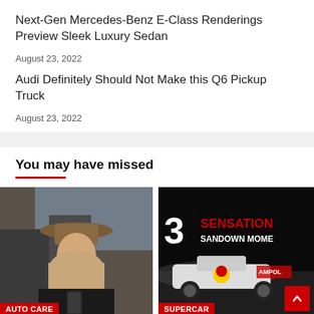Next-Gen Mercedes-Benz E-Class Renderings Preview Sleek Luxury Sedan
August 23, 2022
Audi Definitely Should Not Make this Q6 Pickup Truck
August 23, 2022
You may have missed
[Figure (photo): Woman wearing a wide-brim hat and black jacket looking at a phone near a car door. Red label 'Auto Care' at bottom left.]
[Figure (photo): Racing car (Supercars) on track at night with Red Bull/Ampol branding. Text overlay '3 SENSATIONAL SANDOWN MOMENTS'. Red label 'Supercar' at bottom left. Red scroll-to-top button at bottom right.]